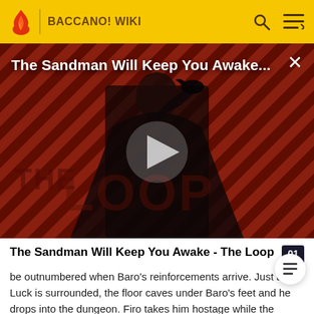BACCANO! WIKI
[Figure (screenshot): Video thumbnail showing a dark-robed figure against a diagonal red and black striped background with 'THE LOOP' watermark. Title overlay reads 'The Sandman Will Keep You Awake...' with a play button in the center.]
The Sandman Will Keep You Awake - The Loop
be outnumbered when Baro's reinforcements arrive. Just as Luck is surrounded, the floor caves under Baro's feet and he drops into the dungeon. Firo takes him hostage while the others escape. Isaac and Miria being happy to